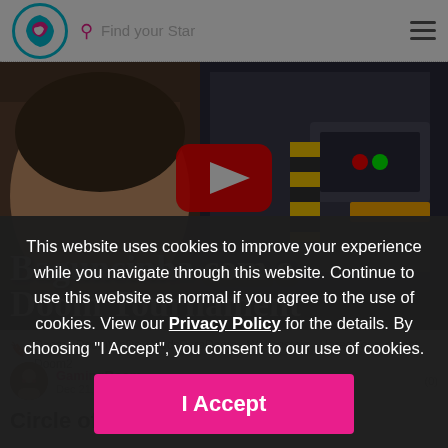Find your Star
[Figure (screenshot): Video thumbnail for 'Baguncinha com o Doom Tournament' showing a person's face on the left and a Doom game screenshot on the right, with a YouTube play button overlay in the center]
Doom  DoomWaDs  ModsParaDoom  Wolfenstein  UnrealTournament  Doom2
GamingRoom  Dec 21, 2021 01:27 PM  (0)
Circle of Caina
This website uses cookies to improve your experience while you navigate through this website. Continue to use this website as normal if you agree to the use of cookies. View our Privacy Policy for the details. By choosing "I Accept", you consent to our use of cookies.
I Accept